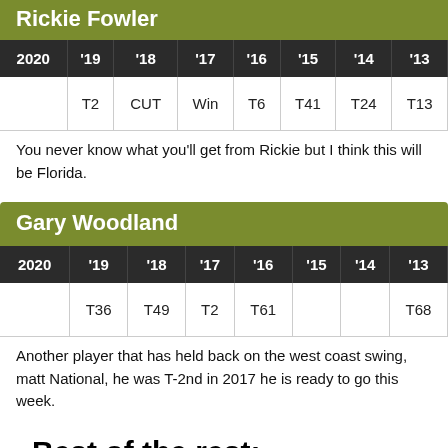Rickie Fowler
| 2020 | '19 | '18 | '17 | '16 | '15 | '14 | '13 |
| --- | --- | --- | --- | --- | --- | --- | --- |
|  | T2 | CUT | Win | T6 | T41 | T24 | T13 |
You never know what you'll get from Rickie but I think this will be Florida.
Gary Woodland
| 2020 | '19 | '18 | '17 | '16 | '15 | '14 | '13 |
| --- | --- | --- | --- | --- | --- | --- | --- |
|  | T36 | T49 | T2 | T61 |  |  | T68 |
Another player that has held back on the west coast swing, matt National, he was T-2nd in 2017 he is ready to go this week.
Best of the rest:
Sungjae Im